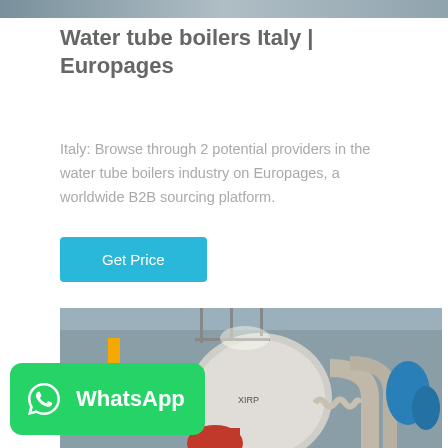[Figure (photo): Top partial image strip of industrial boiler equipment]
Water tube boilers Italy | Europages
Italy: Browse through 2 potential providers in the water tube boilers industry on Europages, a worldwide B2B sourcing platform.
Get Price
[Figure (photo): Industrial boiler room with stainless steel pipes, yellow gas lines, red burner, and blue pressure tanks]
[Figure (logo): WhatsApp green banner with WhatsApp logo and text]